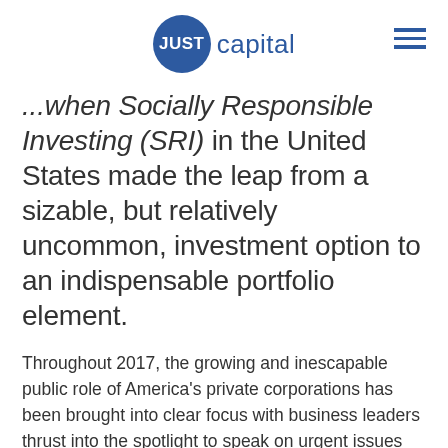JUST capital
...when Socially Responsible Investing (SRI) in the United States made the leap from a sizable, but relatively uncommon, investment option to an indispensable portfolio element.
Throughout 2017, the growing and inescapable public role of America's private corporations has been brought into clear focus with business leaders thrust into the spotlight to speak on urgent issues from the treatment of women and minorities, to immigration, income inequality, and climate change.
In early January, BlackRock intensified the focus on investor stewardship, with CEO Larry Fink noting in...